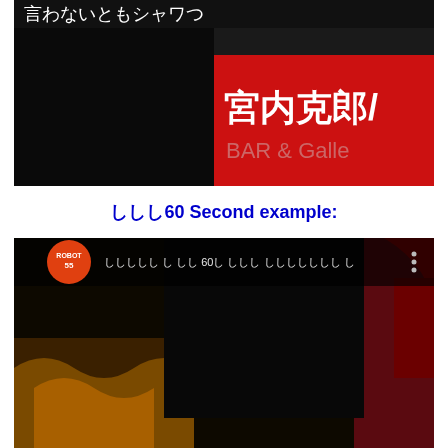[Figure (photo): Screenshot of a Japanese TV program showing a dark scene with a red sign displaying Japanese characters '宮内克郎/' and 'BAR & Galle' in white text on red background]
ししし60 Second example:
[Figure (screenshot): YouTube video thumbnail showing a video by ROBOT55 channel with Japanese text overlay and 60 second duration, showing ornate golden decorative objects and dark fabric in background]